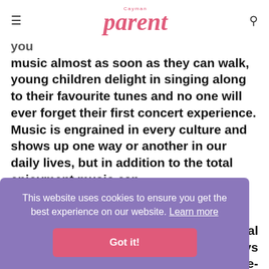Cayman parent
you music almost as soon as they can walk, young children delight in singing along to their favourite tunes and no one will ever forget their first concert experience. Music is engrained in every culture and shows up one way or another in our daily lives, but in addition to the total enjoyment music can
ral ys Re-
This website uses cookies to ensure you get the best experience on our website. Learn more
Got it!